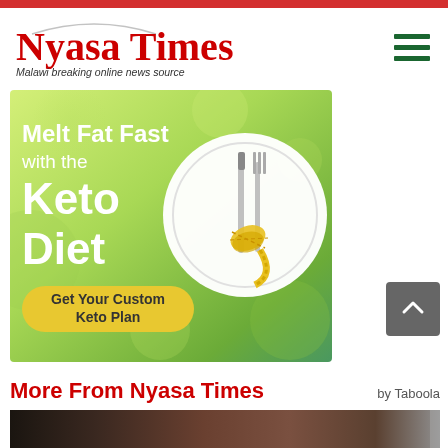Nyasa Times — Malawi breaking online news source
[Figure (illustration): Keto Diet advertisement banner showing a plate with fork and knife wrapped in measuring tape. Text: 'Melt Fat Fast with the Keto Diet — Get Your Custom Keto Plan']
More From Nyasa Times
by Taboola
[Figure (photo): Dark close-up photo of human skin, cropped at bottom of page]